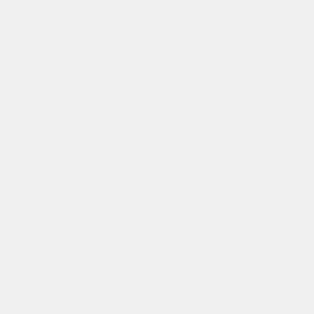helm, titanium fibreglass or other material may not be used in the construction of a helm if they render it lighter